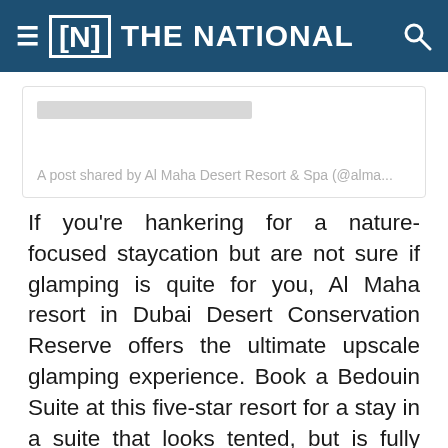THE NATIONAL
[Figure (screenshot): Embedded social media post card from Al Maha Desert Resort & Spa (@alma...) with a placeholder image bar and caption text]
A post shared by Al Maha Desert Resort & Spa (@alma...
If you're hankering for a nature-focused staycation but are not sure if glamping is quite for you, Al Maha resort in Dubai Desert Conservation Reserve offers the ultimate upscale glamping experience. Book a Bedouin Suite at this five-star resort for a stay in a suite that looks tented, but is fully equipped on the inside. Furnished with authentic Arabian decor and artefacts, you'll want for nothing at this luxury resort, which has a price tag to match. The suites come with a private